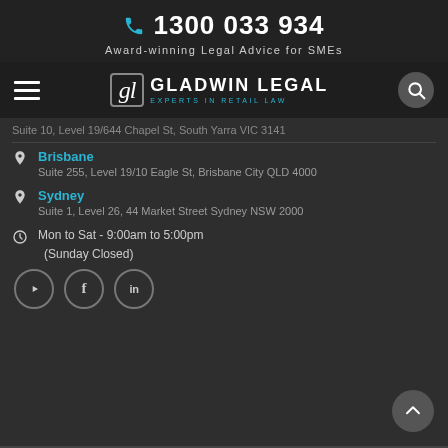1300 033 934
Award-winning Legal Advice for SMEs
[Figure (logo): Gladwin Legal logo — stylised 'gl' script monogram with text 'GLADWIN LEGAL' and subtitle 'EXPERTS IN RETAIL LAW']
Suite 10, Level 19/644 Chapel St, South Yarra VIC 3141
Brisbane
Suite 255, Level 19/10 Eagle St, Brisbane City QLD 4000
Sydney
Suite 1, Level 26, 44 Market Street Sydney NSW 2000
Mon to Sat - 9:00am to 5:00pm
(Sunday Closed)
[Figure (other): Social media icons: YouTube, Facebook, LinkedIn]